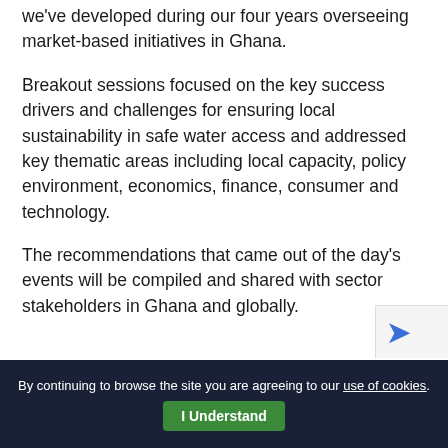we've developed during our four years overseeing market-based initiatives in Ghana.
Breakout sessions focused on the key success drivers and challenges for ensuring local sustainability in safe water access and addressed key thematic areas including local capacity, policy environment, economics, finance, consumer and technology.
The recommendations that came out of the day's events will be compiled and shared with sector stakeholders in Ghana and globally.
By continuing to browse the site you are agreeing to our use of cookies.  I Understand